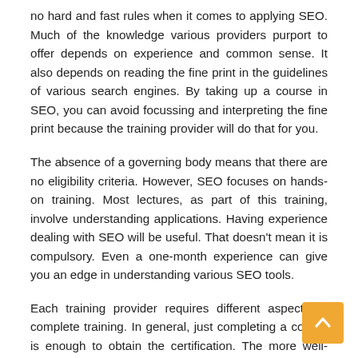no hard and fast rules when it comes to applying SEO. Much of the knowledge various providers purport to offer depends on experience and common sense. It also depends on reading the fine print in the guidelines of various search engines. By taking up a course in SEO, you can avoid focussing and interpreting the fine print because the training provider will do that for you.
The absence of a governing body means that there are no eligibility criteria. However, SEO focuses on hands-on training. Most lectures, as part of this training, involve understanding applications. Having experience dealing with SEO will be useful. That doesn't mean it is compulsory. Even a one-month experience can give you an edge in understanding various SEO tools.
Each training provider requires different aspects to complete training. In general, just completing a course is enough to obtain the certification. The more well-known the training provider is, the better the quality of certification. Further, this certification does not expire...